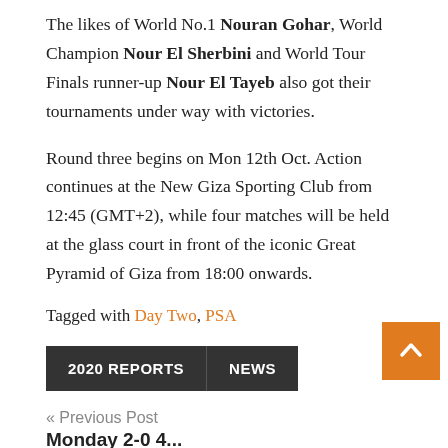The likes of World No.1 Nouran Gohar, World Champion Nour El Sherbini and World Tour Finals runner-up Nour El Tayeb also got their tournaments under way with victories.
Round three begins on Mon 12th Oct. Action continues at the New Giza Sporting Club from 12:45 (GMT+2), while four matches will be held at the glass court in front of the iconic Great Pyramid of Giza from 18:00 onwards.
Tagged with Day Two, PSA
2020 REPORTS   NEWS
« Previous Post
Monday 2-0 4...